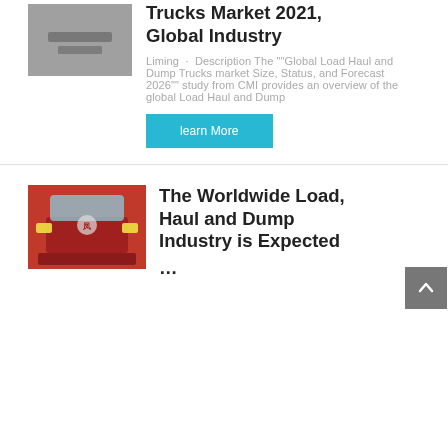[Figure (photo): Thumbnail image of a truck or vehicle, gray/dark background, partially visible at top left of first card]
Trucks Market 2021, Global Industry
Liming · Description The ""Global Load Haul and Dump Trucks market Size, Status, and Forecast 2026"" study from CMI provides an overview of the global Load Haul and Dump
learn More
[Figure (photo): Front view of a red heavy-duty truck (Sinotruk HOWO), close-up shot]
The Worldwide Load, Haul and Dump Industry is Expected …